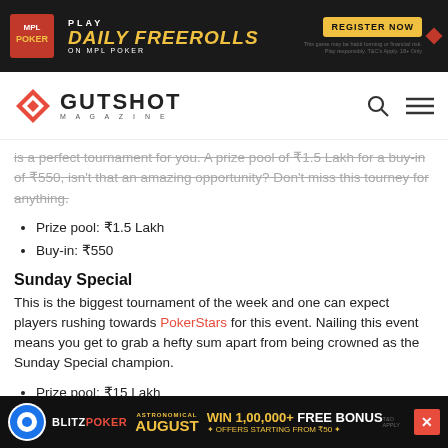[Figure (other): MPL Poker banner ad: Play Daily Freerolls on MPL Poker with Register Now button]
GUTSHOT MAGAZINE
is a perfect tournament for you. A prize pool of ₹1.5 Lakh for a buy-in of ₹550, isn't that an amazing opportunity? Don't miss this tourney for anything.
Prize pool: ₹1.5 Lakh
Buy-in: ₹550
Sunday Special
This is the biggest tournament of the week and one can expect players rushing towards PokerStars for this event. Nailing this event means you get to grab a hefty sum apart from being crowned as the Sunday Special champion.
Prize pool: ₹15 Lakh
Buy-in: ₹5,500
[Figure (other): BlitzPoker Astronomical August banner ad: Win 1,00,000 + Free Bonus, offers starting from ₹50]